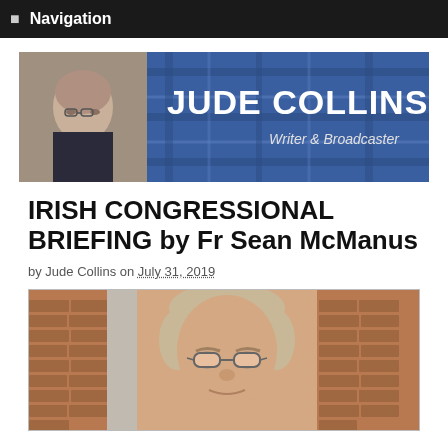☰  Navigation
[Figure (illustration): Jude Collins website banner with photo of older man and text 'JUDE COLLINS Writer & Broadcaster' on blue plaid background]
IRISH CONGRESSIONAL BRIEFING by Fr Sean McManus
by Jude Collins on July 31, 2019
[Figure (photo): Close-up photo of Fr Sean McManus, older man with grey hair and glasses, against a brick wall background]